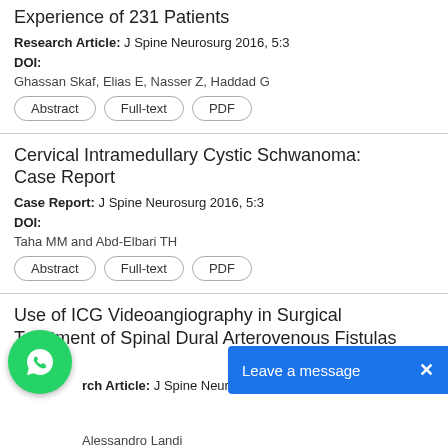Experience of 231 Patients
Research Article: J Spine Neurosurg 2016, 5:3
DOI:
Ghassan Skaf, Elias E, Nasser Z, Haddad G
Abstract | Full-text | PDF
Cervical Intramedullary Cystic Schwanoma: Case Report
Case Report: J Spine Neurosurg 2016, 5:3
DOI:
Taha MM and Abd-Elbari TH
Abstract | Full-text | PDF
Use of ICG Videoangiography in Surgical Treatment of Spinal Dural Arterovenous Fistulas sdavf
Research Article: J Spine Neurosurg 2016, 5:3
Alessandro Landi
Abstract | Full-text | PDF